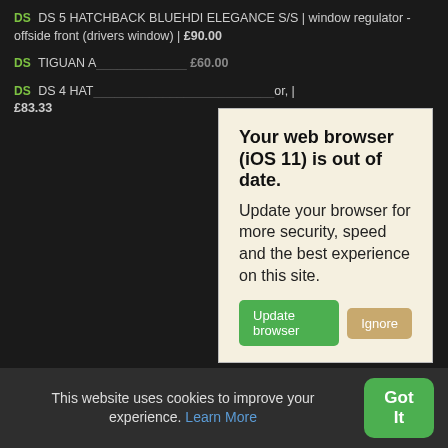DS DS 5 HATCHBACK BLUEHDI ELEGANCE S/S | window regulator - offside front (drivers window) | £90.00
DS TIGUAN A... £60.00
DS DS 4 HAT... tor, | £83.33
[Figure (screenshot): Browser update warning modal with title 'Your web browser (iOS 11) is out of date.' and body text 'Update your browser for more security, speed and the best experience on this site.' with 'Update browser' green button and 'Ignore' tan button]
Latest DS Parts Searches
DS DS 4 HATCHBACK 1560cc 2015 diesel manual | side mirror
This website uses cookies to improve your experience. Learn More
Got It